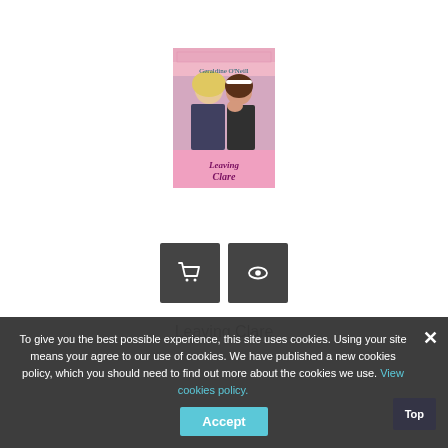[Figure (illustration): Book cover for 'Leaving Clare' by Geraldine O'Neill. Shows two women (one blonde, one brunette) and pink/purple design with the title 'Leaving Clare' in script lettering.]
[Figure (other): Two dark grey square icon buttons: a shopping cart icon and an eye/preview icon.]
Leaving Clare
To give you the best possible experience, this site uses cookies. Using your site means your agree to our use of cookies. We have published a new cookies policy, which you should need to find out more about the cookies we use. View cookies policy.